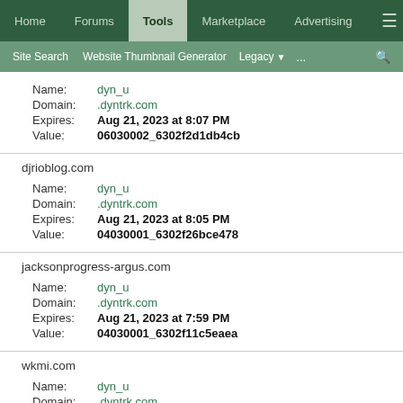Home | Forums | Tools | Marketplace | Advertising
Site Search | Website Thumbnail Generator | Legacy | ... | search
Name: dyn_u
Domain: .dyntrk.com
Expires: Aug 21, 2023 at 8:07 PM
Value: 06030002_6302f2d1db4cb
djrioblog.com
Name: dyn_u
Domain: .dyntrk.com
Expires: Aug 21, 2023 at 8:05 PM
Value: 04030001_6302f26bce478
jacksonprogress-argus.com
Name: dyn_u
Domain: .dyntrk.com
Expires: Aug 21, 2023 at 7:59 PM
Value: 04030001_6302f11c5eaea
wkmi.com
Name: dyn_u
Domain: .dyntrk.com
Expires: Aug 21, 2023 at 7:55 PM
Value: 04030001_6302f01804631